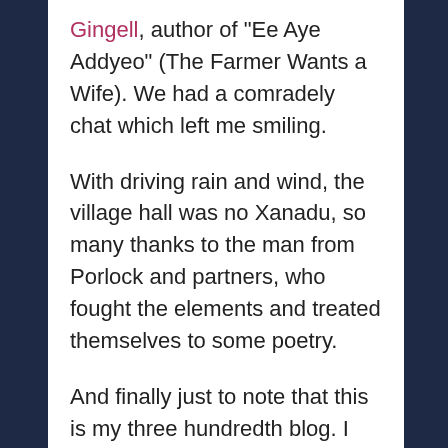Gingell, author of "Ee Aye Addyeo" (The Farmer Wants a Wife). We had a comradely chat which left me smiling.
With driving rain and wind, the village hall was no Xanadu, so many thanks to the man from Porlock and partners, who fought the elements and treated themselves to some poetry.
And finally just to note that this is my three hundredth blog. I know there are tattooed old sweats out there who have done several thousands. My feeling is that the blogger sands have shifted since I started. At the moment it...